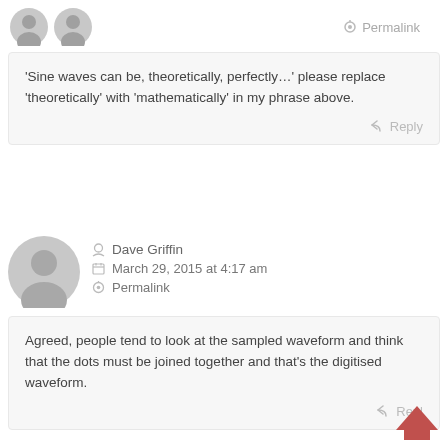Permalink
'Sine waves can be, theoretically, perfectly…' please replace 'theoretically' with 'mathematically' in my phrase above.
Reply
Dave Griffin
March 29, 2015 at 4:17 am
Permalink
Agreed, people tend to look at the sampled waveform and think that the dots must be joined together and that's the digitised waveform.
Reply